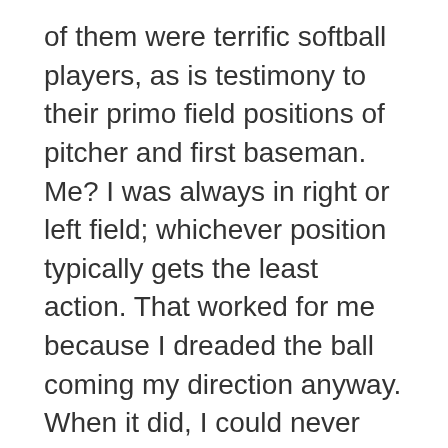of them were terrific softball players, as is testimony to their primo field positions of pitcher and first baseman. Me? I was always in right or left field; whichever position typically gets the least action. That worked for me because I dreaded the ball coming my direction anyway. When it did, I could never figure out what to do with it. Throw it to first base? To second or third? To the pitcher or short stop? Between the bat connecting with the ball and the ball connecting with my mitt, everything moved so fast, except for my brain. I couldn't keep up with the pace, so I never knew where to throw the ball.
Not surprisingly, I spent more time on the bench than the average team member. That was fine with